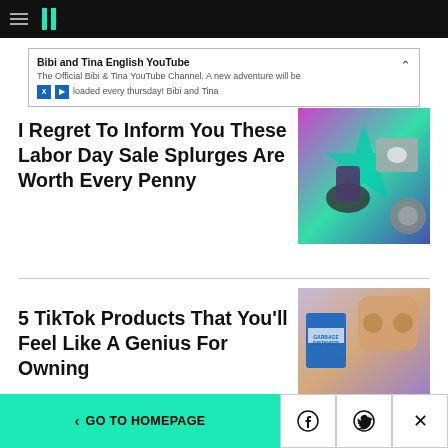HuffPost navigation bar with hamburger menu and logo
Bibi and Tina English YouTube — The Official Bibi & Tina YouTube Channel. A new adventure will be loaded every thursday! Bibi and Tina
I Regret To Inform You These Labor Day Sale Splurges Are Worth Every Penny
[Figure (photo): Product collage on colorful background: office chair with floral pattern, dog carrier/stroller, robot vacuum, on purple/teal backdrop]
5 TikTok Products That You'll Feel Like A Genius For Owning
[Figure (photo): Gold/rose gold wireless earbuds in case, Drano garbage disposer product, on purple background]
< GO TO HOMEPAGE  [Facebook] [Twitter] [X]